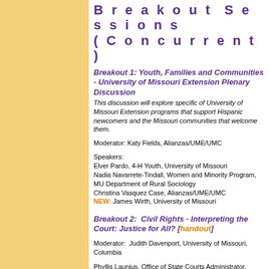Breakout Sessions (Concurrent)
Breakout 1: Youth, Families and Communities - University of Missouri Extension Plenary Discussion
This discussion will explore specific of University of Missouri Extension programs that support Hispanic newcomers and the Missouri communities that welcome them.
Moderator: Katy Fields, Alianzas/UME/UMC
Speakers:
Elver Pardo, 4-H Youth, University of Missouri
Nadia Navarrete-Tindall, Women and Minority Program, MU Department of Rural Sociology
Christina Vasquez Case, Alianzas/UME/UMC
NEW: James Wirth, University of Missouri
Breakout 2:  Civil Rights - Interpreting the Court: Justice for All? [handout]
Moderator:  Judith Davenport, University of Missouri, Columbia
Phyllis Launius, Office of State Courts Administrator, Jefferson City, MO
Breakout 3: Youth Families and